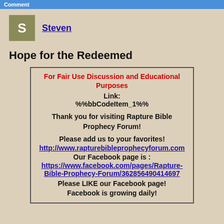Comment
S  Steven
Hope for the Redeemed
For Fair Use Discussion and Educational Purposes
Link:
%%bbCodeItem_1%%

Thank you for visiting Rapture Bible Prophecy Forum!

Please add us to your favorites!
http://www.rapturebibleprophecyforum.com
Our Facebook page is :
https://www.facebook.com/pages/Rapture-Bible-Prophecy-Forum/362856490414697
Please LIKE our Facebook page!
Facebook is growing daily!